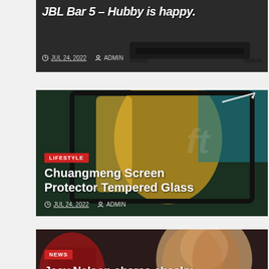[Figure (screenshot): Partial top card showing JBL Bar product on dark background with white bold italic text]
JUL 24, 2022  ADMIN
[Figure (photo): Article card with image of screen protector product, yellow and teal background]
LIFESTYLE
Chuangmeng Screen Protector Tempered Glass
JUL 24, 2022  ADMIN
[Figure (photo): Article card with photo of person with curly hair and red shoes]
NEWS
Jesy Nelson shares cheeky snap of her bum as she